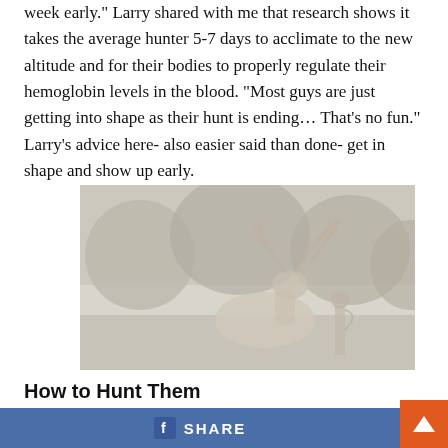week early." Larry shared with me that research shows it takes the average hunter 5-7 days to acclimate to the new altitude and for their bodies to properly regulate their hemoglobin levels in the blood. "Most guys are just getting into shape as their hunt is ending… That's no fun." Larry's advice here- also easier said than done- get in shape and show up early.
[Figure (photo): A faded/washed-out outdoor hunting photograph showing a deer with large antlers among trees and foliage, with what appears to be hunting equipment visible.]
How to Hunt Them
This tip in itself is one that people have written about for